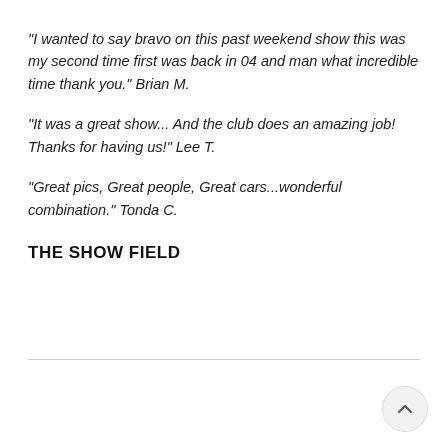“I wanted to say bravo on this past weekend show this was my second time first was back in 04 and man what incredible time thank you.” Brian M.
“It was a great show... And the club does an amazing job! Thanks for having us!” Lee T.
“Great pics, Great people, Great cars...wonderful combination.” Tonda C.
THE SHOW FIELD